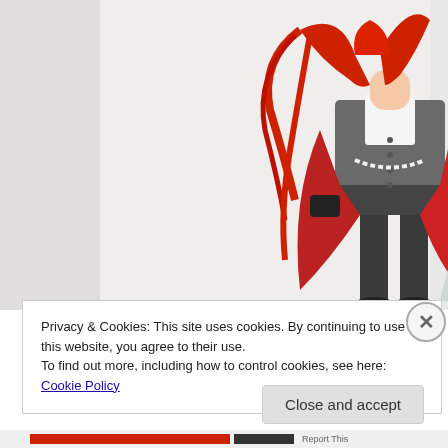[Figure (photo): Anime figure/collectible toy of a character with long red hair wearing a grey vest suit with a white shirt and dark pants, carrying a large decorative sword with red and gold ornaments. The figure is displayed against a white exhibition backdrop with Japanese text signage visible in the background.]
Privacy & Cookies: This site uses cookies. By continuing to use this website, you agree to their use.
To find out more, including how to control cookies, see here: Cookie Policy